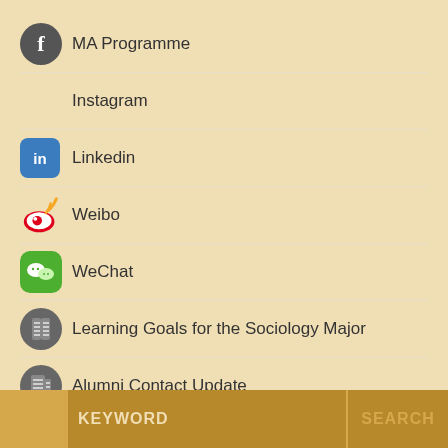MA Programme
Instagram
Linkedin
Weibo
WeChat
Learning Goals for the Sociology Major
Alumni Contact Update
Application for Use of Sociology Conference Room
KEYWORD    SEARCH